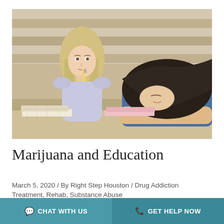[Figure (photo): Two female students in a lecture hall classroom. One student on the left sits upright looking bored/distracted with her chin resting on her hand holding a pencil. The other student on the right is asleep, head resting on her arms on the desk. Books are open on the desk in front of them.]
Marijuana and Education
March 5, 2020 / By Right Step Houston / Drug Addiction Treatment, Rehab, Substance Abuse
CHAT WITH US  GET HELP NOW